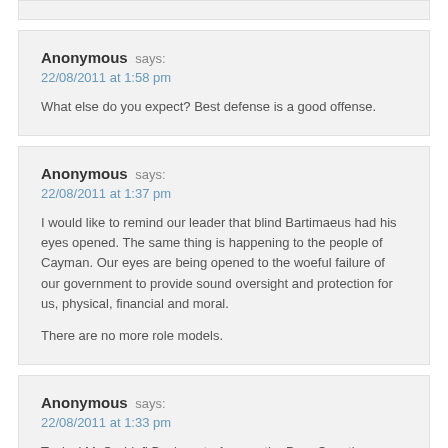Anonymous says: 22/08/2011 at 1:58 pm — What else do you expect? Best defense is a good offense.
Anonymous says: 22/08/2011 at 1:37 pm — I would like to remind our leader that blind Bartimaeus had his eyes opened. The same thing is happening to the people of Cayman. Our eyes are being opened to the woeful failure of our government to provide sound oversight and protection for us, physical, financial and moral. There are no more role models.
Anonymous says: 22/08/2011 at 1:33 pm — Typical McQaddafi Bush rant. Answer the Dam Questions already or step